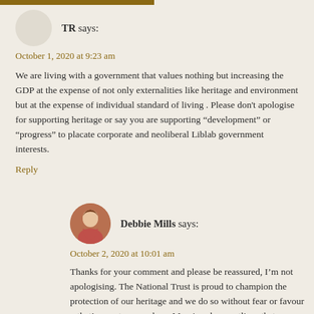TR says:
October 1, 2020 at 9:23 am
We are living with a government that values nothing but increasing the GDP at the expense of not only externalities like heritage and environment but at the expense of individual standard of living . Please don't apologise for supporting heritage or say you are supporting “development” or “progress” to placate corporate and neoliberal Liblab government interests.
Reply
Debbie Mills says:
October 2, 2020 at 10:01 am
Thanks for your comment and please be reassured, I’m not apologising. The National Trust is proud to champion the protection of our heritage and we do so without fear or favour – that’s core to our values. My piece here outlines that